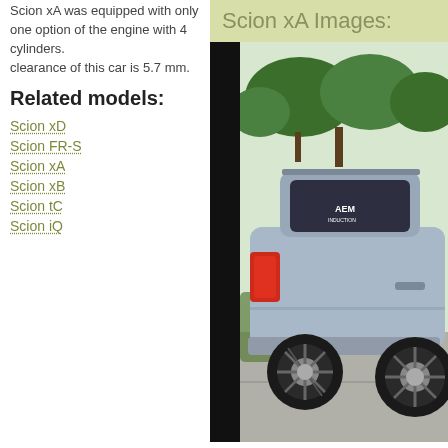Scion xA was equipped with only one option of the engine with 4 cylinders.
clearance of this car is 5.7 mm.
Related models:
Scion xD
Scion FR-S
Scion xA
Scion xB
Scion tC
Scion iQ
Scion xA Images:
[Figure (photo): Photograph of a silver/blue Scion xA car from rear-side angle in a parking lot, showing custom wheels, tinted windows with AEM sticker, trees in background]